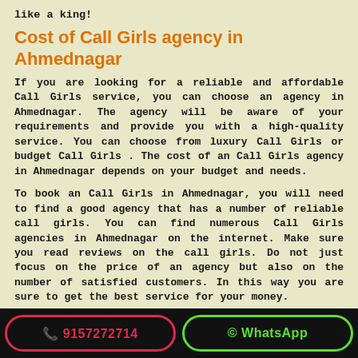like a king!
Cost of Call Girls agency in Ahmednagar
If you are looking for a reliable and affordable Call Girls service, you can choose an agency in Ahmednagar. The agency will be aware of your requirements and provide you with a high-quality service. You can choose from luxury Call Girls or budget Call Girls . The cost of an Call Girls agency in Ahmednagar depends on your budget and needs.
To book an Call Girls in Ahmednagar, you will need to find a good agency that has a number of reliable call girls. You can find numerous Call Girls agencies in Ahmednagar on the internet. Make sure you read reviews on the call girls. Do not just focus on the price of an agency but also on the number of satisfied customers. In this way you are sure to get the best service for your money.
An Call Girls agency in AhmednaGAR is a great way to experience sex in a new way. A professional and seasoned Call Girls can be your closest friend when you feel lonely. In
📞 9157272714    © WhatsApp